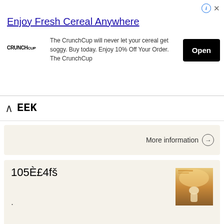[Figure (screenshot): Advertisement banner for CrunchCup cereal product. Title: 'Enjoy Fresh Cereal Anywhere'. Logo: CRUNCHCUP. Body: 'The CrunchCup will never let your cereal get soggy. Buy today. Enjoy 10% Off Your Order. The CrunchCup'. Button: 'Open'. Info and close icons in top right.]
EEK
More information →
105È£4fš
·
,
More information →
<3230313431313138395FC1A6BEC8BFE4C3BBBCAD2E687770>